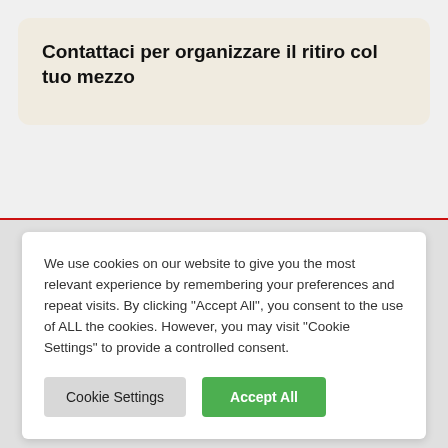Contattaci per organizzare il ritiro col tuo mezzo
We use cookies on our website to give you the most relevant experience by remembering your preferences and repeat visits. By clicking "Accept All", you consent to the use of ALL the cookies. However, you may visit "Cookie Settings" to provide a controlled consent.